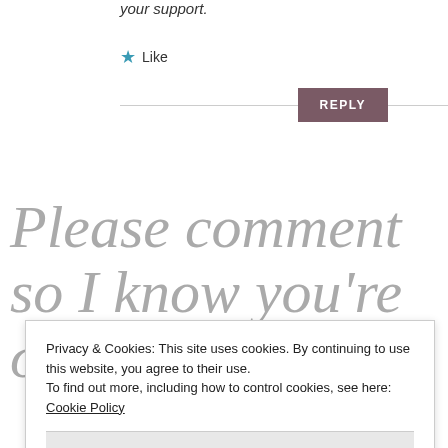your support.
★ Like
REPLY
Please comment so I know you're out there.
Privacy & Cookies: This site uses cookies. By continuing to use this website, you agree to their use. To find out more, including how to control cookies, see here: Cookie Policy
Close and accept